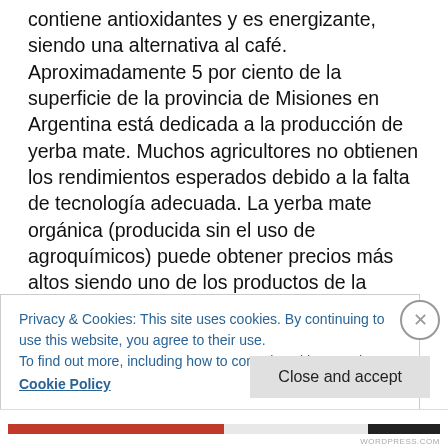contiene antioxidantes y es energizante, siendo una alternativa al café. Aproximadamente 5 por ciento de la superficie de la provincia de Misiones en Argentina está dedicada a la producción de yerba mate. Muchos agricultores no obtienen los rendimientos esperados debido a la falta de tecnología adecuada. La yerba mate orgánica (producida sin el uso de agroquímicos) puede obtener precios más altos siendo uno de los productos de la mayoría de las cooperativas. Típicamente plantada en monocultivo, su manejo puede causar erosión y agotamiento del suelo, sin embargo la yerba mate crece en bosque subtropical y es tolerante a sombra
Privacy & Cookies: This site uses cookies. By continuing to use this website, you agree to their use.
To find out more, including how to control cookies, see here:
Cookie Policy